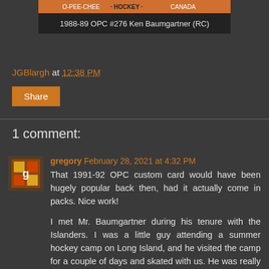[Figure (photo): Orange bar at top of a hockey card image area]
1988-89 OPC #276 Ken Baumgartner (RC)
JGBlargh at 12:38 PM
Share
1 comment:
gregory February 28, 2021 at 4:32 PM
That 1991-92 OPC custom card would have been hugely popular back then, had it actually come in packs. Nice work!

I met Mr. Baumgartner during his tenure with the Islanders. I was a little guy attending a summer hockey camp on Long Island, and he visited the camp for a couple of days and skated with us. He was really great with all the kids. Fun